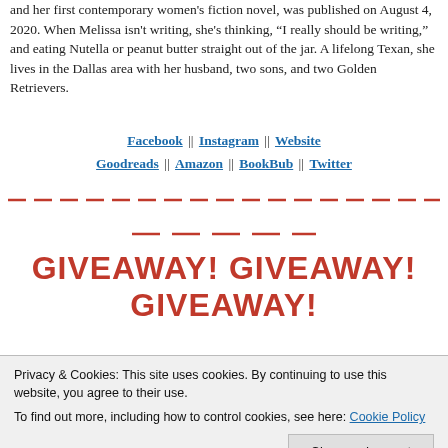and her first contemporary women's fiction novel, was published on August 4, 2020. When Melissa isn't writing, she's thinking, “I really should be writing,” and eating Nutella or peanut butter straight out of the jar. A lifelong Texan, she lives in the Dallas area with her husband, two sons, and two Golden Retrievers.
Facebook || Instagram || Website
Goodreads || Amazon || BookBub || Twitter
GIVEAWAY!  GIVEAWAY!
GIVEAWAY!
TWO WINNERS each get a signed hardcover copy
Privacy & Cookies: This site uses cookies. By continuing to use this website, you agree to their use.
To find out more, including how to control cookies, see here: Cookie Policy
Close and accept